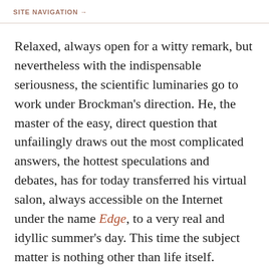SITE NAVIGATION →
Relaxed, always open for a witty remark, but nevertheless with the indispensable seriousness, the scientific luminaries go to work under Brockman's direction. He, the master of the easy, direct question that unfailingly draws out the most complicated answers, the hottest speculations and debates, has for today transferred his virtual salon, always accessible on the Internet under the name Edge, to a very real and idyllic summer's day. This time the subject matter is nothing other than life itself.
When Venter speaks of life, it's almost as if he were reading from the script of a highly elaborate Science Fiction film. We are told to imagine organisms that not only can survive dangerous radiations, but that remain